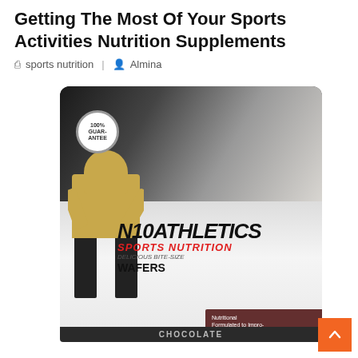Getting The Most Of Your Sports Activities Nutrition Supplements
sports nutrition | Almina
[Figure (photo): Product photo of a sports nutrition supplement bag from 'n10 Athletics Sports Nutrition' showing delicious bite-size wafers in chocolate flavor, with an athlete wearing jersey number 14 on the packaging]